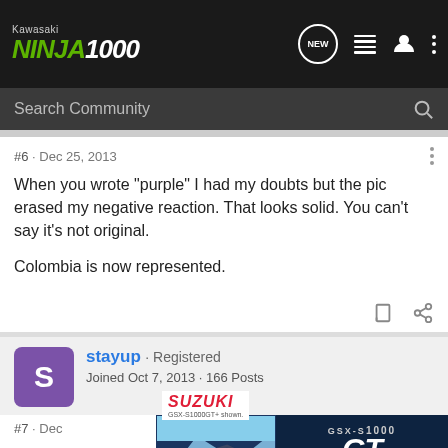Kawasaki Ninja 1000 - Search Community
#6 · Dec 25, 2013
When you wrote "purple" I had my doubts but the pic erased my negative reaction. That looks solid. You can't say it's not original.

Colombia is now represented.
stayup · Registered
Joined Oct 7, 2013 · 166 Posts
#7 · Dec
[Figure (screenshot): Suzuki GSX-S1000GT advertisement banner]